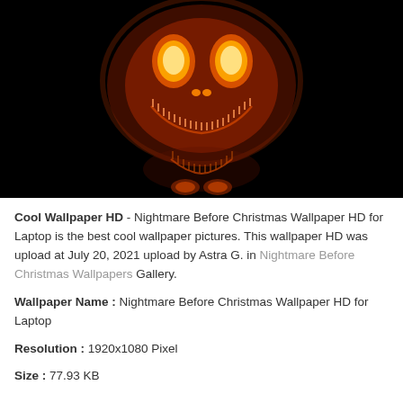[Figure (photo): A carved Halloween jack-o'-lantern pumpkin glowing orange-red in the dark, featuring large oval eyes, a small nose, and a wide stitched smile. Below it is a reflection or second smaller pumpkin face with a similar stitched grin and small leaf-like eyes, all against a pure black background.]
Cool Wallpaper HD - Nightmare Before Christmas Wallpaper HD for Laptop is the best cool wallpaper pictures. This wallpaper HD was upload at July 20, 2021 upload by Astra G. in Nightmare Before Christmas Wallpapers Gallery.
Wallpaper Name : Nightmare Before Christmas Wallpaper HD for Laptop
Resolution : 1920x1080 Pixel
Size : 77.93 KB